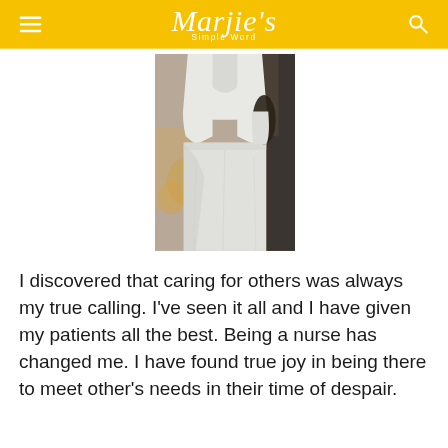Marjie's Simple Word
[Figure (photo): A person wearing a white nurse uniform (white top and white skirt/pants), photographed from the torso down, standing in what appears to be an indoor setting with decorative items in the background.]
I discovered that caring for others was always my true calling.  I've seen it all and I have given my patients all the best.  Being a nurse has changed me.  I have found true joy in being there to meet other's needs in their time of despair.
Every day is an opportunity to make someone's life